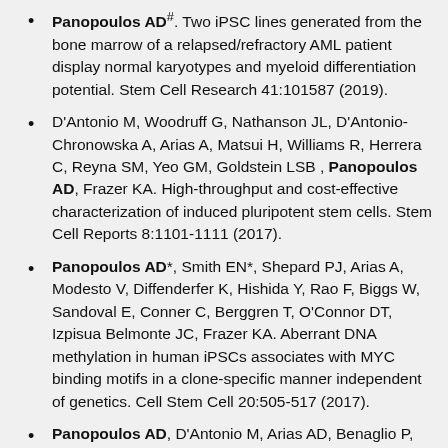Panopoulos AD#. Two iPSC lines generated from the bone marrow of a relapsed/refractory AML patient display normal karyotypes and myeloid differentiation potential. Stem Cell Research 41:101587 (2019).
D'Antonio M, Woodruff G, Nathanson JL, D'Antonio-Chronowska A, Arias A, Matsui H, Williams R, Herrera C, Reyna SM, Yeo GM, Goldstein LSB, Panopoulos AD, Frazer KA. High-throughput and cost-effective characterization of induced pluripotent stem cells. Stem Cell Reports 8:1101-1111 (2017).
Panopoulos AD*, Smith EN*, Shepard PJ, Arias A, Modesto V, Diffenderfer K, Hishida Y, Rao F, Biggs W, Sandoval E, Conner C, Berggren T, O'Connor DT, Izpisua Belmonte JC, Frazer KA. Aberrant DNA methylation in human iPSCs associates with MYC binding motifs in a clone-specific manner independent of genetics. Cell Stem Cell 20:505-517 (2017).
Panopoulos AD, D'Antonio M, Arias AD, Benaglio P,